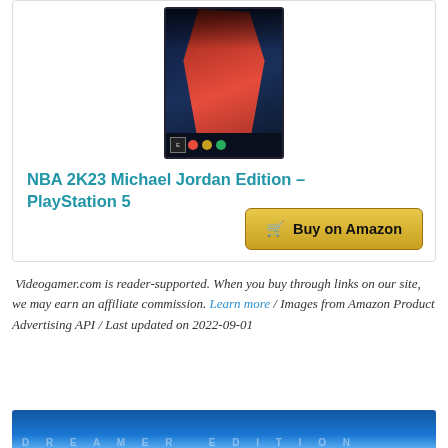[Figure (photo): NBA 2K23 Michael Jordan Edition PlayStation 5 game cover art showing a basketball player in red jersey]
NBA 2K23 Michael Jordan Edition – PlayStation 5
Buy on Amazon
Videogamer.com is reader-supported. When you buy through links on our site, we may earn an affiliate commission. Learn more / Images from Amazon Product Advertising API / Last updated on 2022-09-01
[Figure (photo): NBA 2K23 Dreamer Edition card with blue gradient background, NBA logo and 2K logo visible]